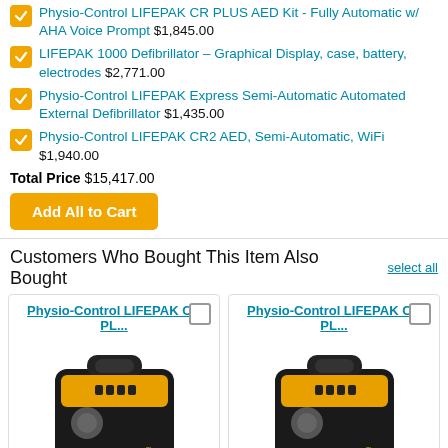Physio-Control LIFEPAK CR PLUS AED Kit - Fully Automatic w/ AHA Voice Prompt $1,845.00
LIFEPAK 1000 Defibrillator – Graphical Display, case, battery, electrodes $2,771.00
Physio-Control LIFEPAK Express Semi-Automatic Automated External Defibrillator $1,435.00
Physio-Control LIFEPAK CR2 AED, Semi-Automatic, WiFi $1,940.00
Total Price $15,417.00
Add All to Cart
Customers Who Bought This Item Also Bought
[Figure (photo): LIFEPAK CR Plus Defibrillator device, black and yellow/orange AED unit with handle, front view]
[Figure (photo): LIFEPAK CR Plus Defibrillator device, black and yellow/orange AED unit with handle, front view (second unit)]